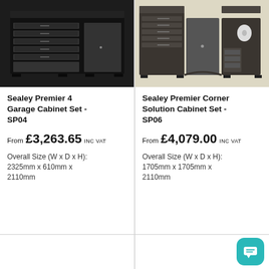[Figure (photo): Sealey Premier 4 Garage Cabinet Set SP04 - black multi-drawer workbench cabinet]
[Figure (photo): Sealey Premier Corner Solution Cabinet Set SP06 - dark corner cabinet unit with drawers and door]
Sealey Premier 4 Garage Cabinet Set - SP04
From £3,263.65 INC VAT
Overall Size (W x D x H): 2325mm x 610mm x 2110mm
Sealey Premier Corner Solution Cabinet Set - SP06
From £4,079.00 INC VAT
Overall Size (W x D x H): 1705mm x 1705mm x 2110mm